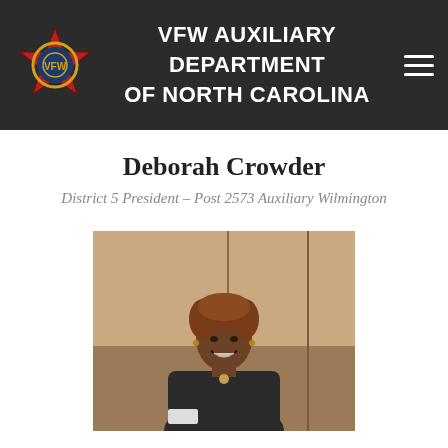VFW AUXILIARY DEPARTMENT of NORTH CAROLINA
Deborah Crowder
District 5 President – Post 2573 Auxiliary Wilmington
[Figure (photo): Portrait photo of Deborah Crowder, a woman with curly auburn hair wearing a dark top, smiling, seated in a room with beige/tan paneled walls]